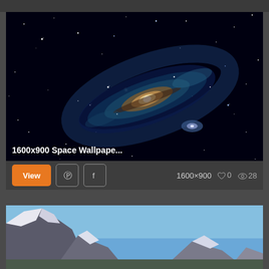[Figure (screenshot): Andromeda galaxy wallpaper image on dark background with stars]
1600x900 Space Wallpape...
View
1600×900  ♡ 0  ◉ 28
[Figure (photo): Snow-capped mountain landscape with blue sky]